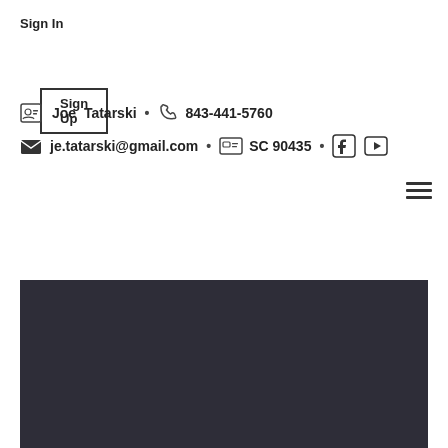Sign In
Sign Up
Joe Tatarski • 843-441-5760
je.tatarski@gmail.com • SC 90435
[Figure (screenshot): Dark gray/charcoal colored rectangular banner area at the bottom of the page]